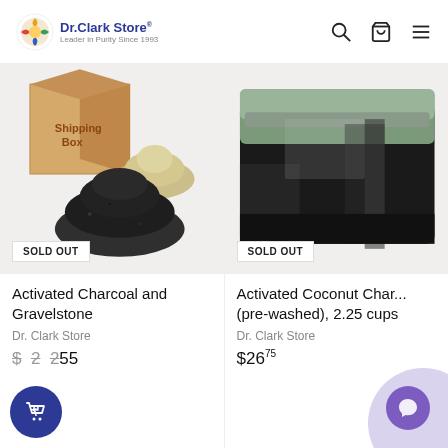Dr.Clark Store® — Leader in Purity Since 1993
[Figure (screenshot): Product card: Activated Charcoal and Gravelstone — SOLD OUT badge, shipping box with charcoal and sand piles, price $202.55, Dr. Clark Store vendor]
[Figure (screenshot): Product card: Activated Coconut Charcoal (pre-washed), 2.25 cups — SOLD OUT badge, black bag of charcoal, price $26.75, Dr. Clark Store vendor]